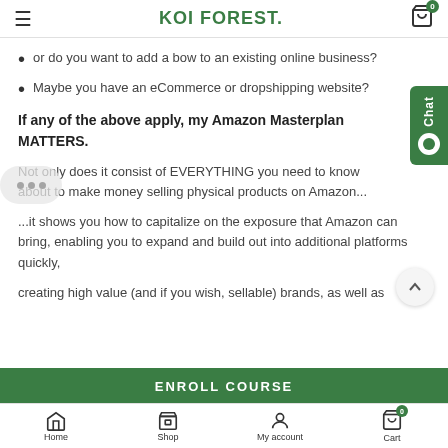KOI FOREST.
or do you want to add a bow to an existing online business?
Maybe you have an eCommerce or dropshipping website?
If any of the above apply, my Amazon Masterplan MATTERS.
Not only does it consist of EVERYTHING you need to know about to make money selling physical products on Amazon...
...it shows you how to capitalize on the exposure that Amazon can bring, enabling you to expand and build out into additional platforms quickly,
creating high value (and if you wish, sellable) brands, as well as
Home  Shop  My account  Cart